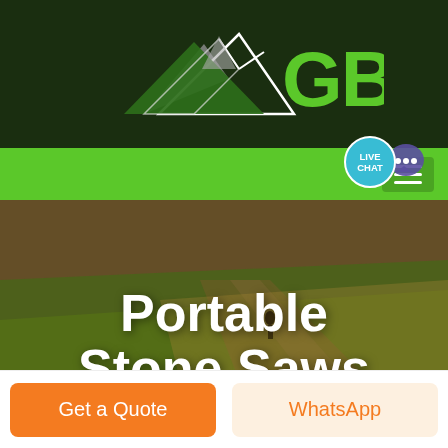[Figure (logo): GBM company logo with mountain peaks graphic in white/gray and green GBM text on dark green background]
[Figure (screenshot): Green navigation bar with hamburger menu icon on right side, and a live chat bubble (teal circle with LIVE CHAT text and purple speech bubble icon)]
[Figure (photo): Aerial photo of agricultural fields with warm orange/green tones, a lone dark tree figure on the left, and a person near the top center]
Portable Stone Saws Dubai
Get a Quote
WhatsApp